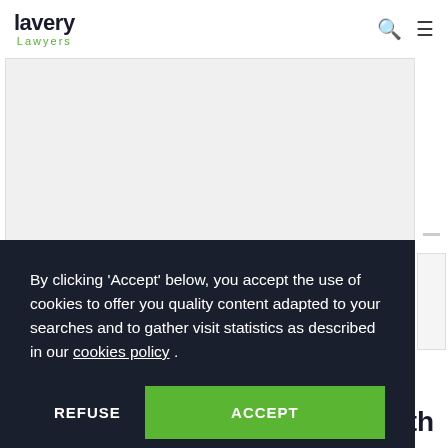lavery Lawyers
[Figure (screenshot): Lavery Lawyers website screenshot showing a white content area with an image region, a cookie consent overlay with 'REFUSE' and 'ACCEPT' buttons, and partial page title text 'Jean-Yves Simard panelist at the 15th' visible at the bottom.]
By clicking 'Accept' below, you accept the use of cookies to offer you quality content adapted to your searches and to gather visit statistics as described in our cookies policy .
REFUSE
ACCEPT
Jean-Yves Simard panelist at the 15th